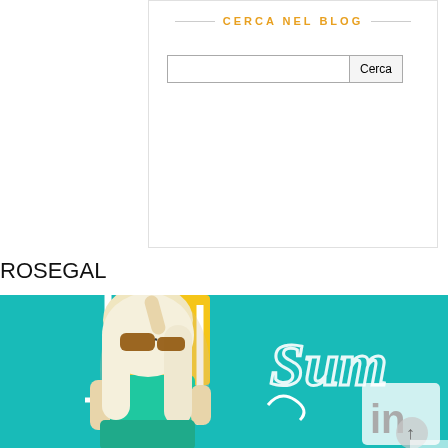CERCA NEL BLOG
[Figure (screenshot): Search box widget with label 'CERCA NEL BLOG' and a text input with a 'Cerca' button]
ROSEGAL
[Figure (photo): Photo of a blonde woman wearing sunglasses and a teal bikini top, sitting on a yellow lounge chair against a teal background, with cursive 'Sum...' text overlay and a LinkedIn icon in the bottom right corner]